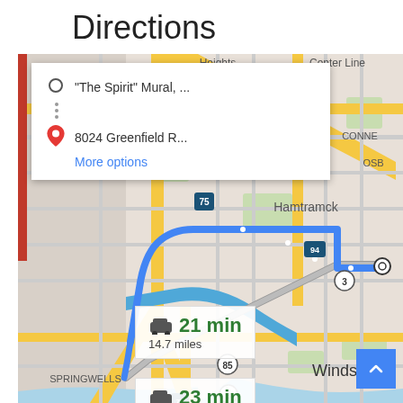Directions
[Figure (map): Google Maps directions screenshot showing route from 'The Spirit' Mural to 8024 Greenfield R... in the Detroit/Hamtramck/Windsor area. Two route options shown: 21 min / 14.7 miles and 23 min / 11.6 miles. Map shows I-75, I-94, US-3, US-85 highways, Hamtramck label, Windsor label, Springwells label, Heights label, Center Line label, Conner area, OSB area. Blue highlighted route visible.]